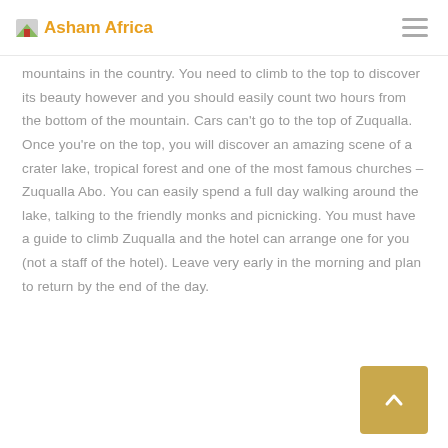Asham Africa
mountains in the country. You need to climb to the top to discover its beauty however and you should easily count two hours from the bottom of the mountain. Cars can't go to the top of Zuqualla. Once you're on the top, you will discover an amazing scene of a crater lake, tropical forest and one of the most famous churches – Zuqualla Abo. You can easily spend a full day walking around the lake, talking to the friendly monks and picnicking. You must have a guide to climb Zuqualla and the hotel can arrange one for you (not a staff of the hotel). Leave very early in the morning and plan to return by the end of the day.